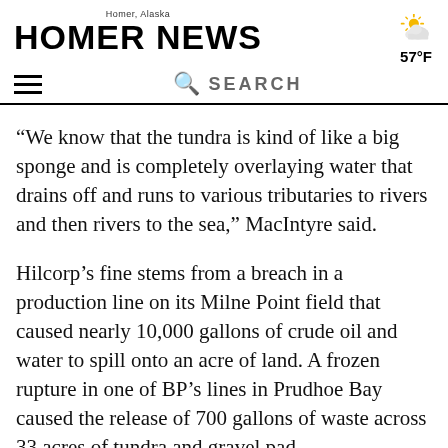Homer, Alaska — HOMER NEWS — 57°F
“We know that the tundra is kind of like a big sponge and is completely overlaying water that drains off and runs to various tributaries to rivers and then rivers to the sea,” MacIntyre said.
Hilcorp’s fine stems from a breach in a production line on its Milne Point field that caused nearly 10,000 gallons of crude oil and water to spill onto an acre of land. A frozen rupture in one of BP’s lines in Prudhoe Bay caused the release of 700 gallons of waste across 33 acres of tundra and gravel pad.
MacIntyre said cleanup efforts on the North Slope have been hampered by into…the conditions